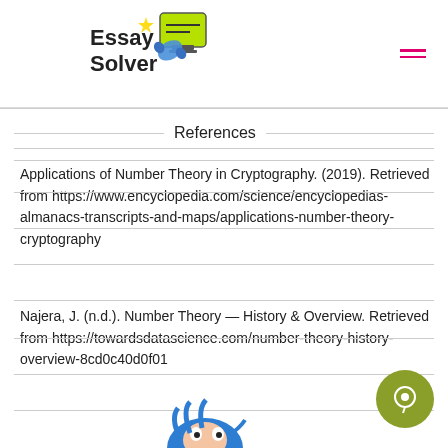Essay Solver
References
Applications of Number Theory in Cryptography. (2019). Retrieved from https://www.encyclopedia.com/science/encyclopedias-almanacs-transcripts-and-maps/applications-number-theory-cryptography
Najera, J. (n.d.). Number Theory — History & Overview. Retrieved from https://towardsdatascience.com/number-theory-history-overview-8cd0c40d0f01